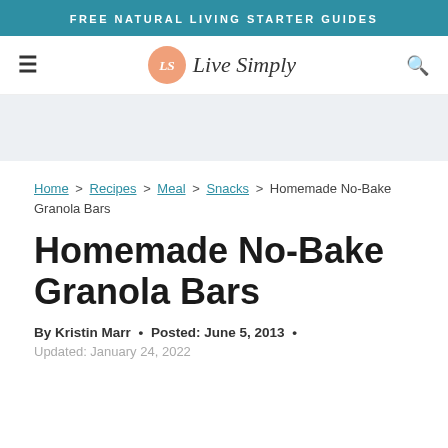FREE NATURAL LIVING STARTER GUIDES
[Figure (logo): Live Simply website logo with circular LS icon and italic script text]
Home > Recipes > Meal > Snacks > Homemade No-Bake Granola Bars
Homemade No-Bake Granola Bars
By Kristin Marr • Posted: June 5, 2013 •
Updated: January 24, 2022